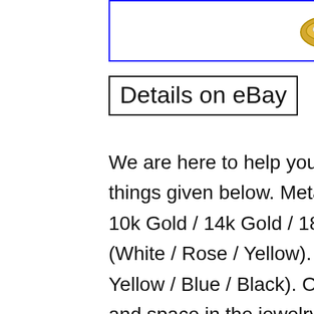[Figure (photo): eBay logo badge on a jewelry ring, shown inside a blue-bordered rectangle]
Details on eBay
We are here to help you!! You can customize the following things given below. Metal Change (925 Sterling Silver / 10k Gold / 14k Gold / 18k Gold). Metal Color Change (White / Rose / Yellow). Color Stones (Red / Green / Yellow / Blue / Black). Of characters will subject to size and space in the jewelry. The White / Yellow / Rose / Black Gold Plating on this item can be effected by many elements. We advise removing this ring when being exposed to any type of substance or chemical. This includes, but not limited to: perfume, hairspray, water, lotions, cleaning products, etc. For incomplete or wrong address we are not liable for any return. Your feedback is very important to us. If you have any queries related to the product or